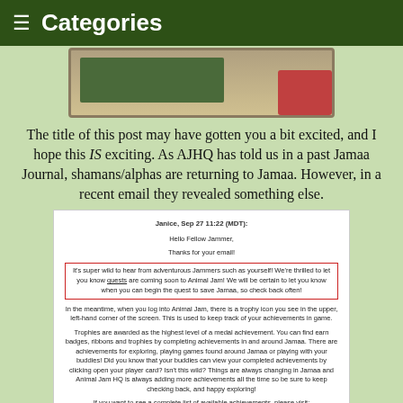≡ Categories
[Figure (screenshot): Partial screenshot of an Animal Jam game interface showing a green chalkboard with decorative border and a red object in upper right]
The title of this post may have gotten you a bit excited, and I hope this IS exciting. As AJHQ has told us in a past Jamaa Journal, shamans/alphas are returning to Jamaa. However, in a recent email they revealed something else.
[Figure (screenshot): Email screenshot from Animal Jam HQ dated Sep 27 11:22 (MDT) addressed to Janice. Contains highlighted red-bordered section mentioning quests coming to Animal Jam, and additional paragraphs about trophies and achievements. Includes a link to http://help.animaljam.com/entries/29103597-can-i-see-the-list-of-available-achievements]
Quests?! My goodness, AJHQ must have really listened to us during the Jamaasian Movement, they truly took our hopes for Jamaa to heart! There isn't much to do now but wait, but we